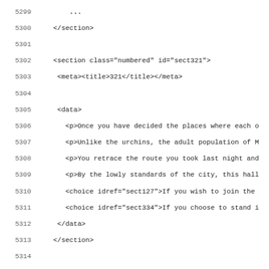Code listing showing XML source lines 5299-5331 with line numbers, including section, meta, data, choice, and footnote elements.